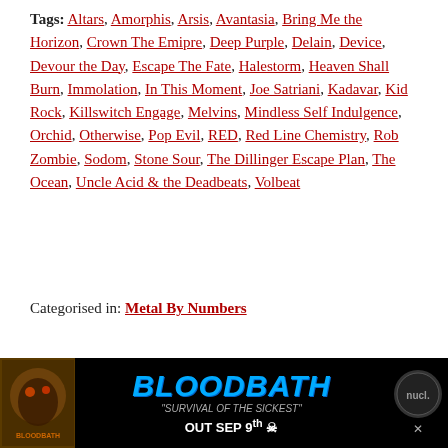Tags: Altars, Amorphis, Arsis, Avantasia, Bring Me the Horizon, Crown The Emipre, Deep Purple, Delain, Device, Devour the Day, Escape The Fate, Halestorm, Heaven Shall Burn, Immolation, In This Moment, Joe Satriani, Kadavar, Kid Rock, Killswitch Engage, Melvins, Mindless Self Indulgence, Orchid, Otherwise, Pop Evil, RED, Red Line Chemistry, Rob Zombie, Sodom, Stone Sour, The Dillinger Escape Plan, The Ocean, Uncle Acid & the Deadbeats, Volbeat
Categorised in: Metal By Numbers
Related Articles
[Figure (other): Thumbnail image placeholder for Metal By Numbers 5/15: Unstoppable Sales article]
Metal By Numbers 5/15: Unstoppable Sales
[Figure (photo): Advertisement banner for Bloodbath 'Survival of the Sickest' album, Out Sep 9th, with album artwork on left and logo on right]